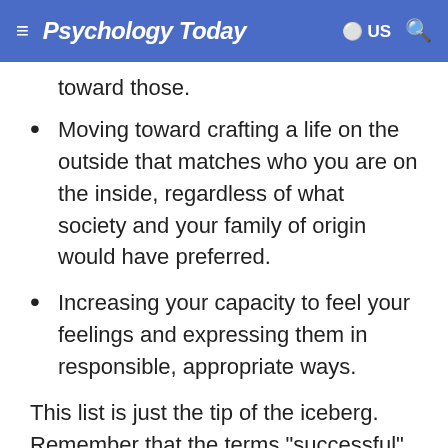Psychology Today — US
toward those.
Moving toward crafting a life on the outside that matches who you are on the inside, regardless of what society and your family of origin would have preferred.
Increasing your capacity to feel your feelings and expressing them in responsible, appropriate ways.
This list is just the tip of the iceberg. Remember that the terms "successful" and "recovery" are subjective: The only person who can define your experience of successful recovery is you. So, be